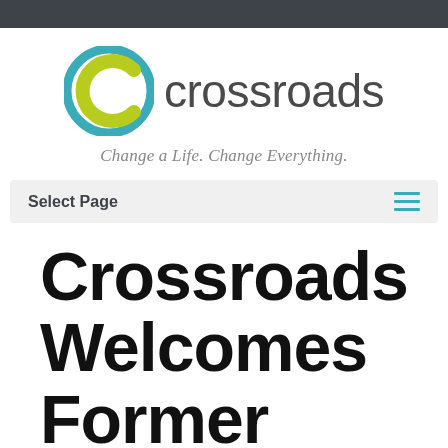[Figure (logo): Crossroads logo: a circular icon with teal outer ring and yellow-green inner C shape, next to the word 'crossroads' in gray sans-serif text]
Change a Life. Change Everything.
Select Page
Crossroads Welcomes Former U.S. At...